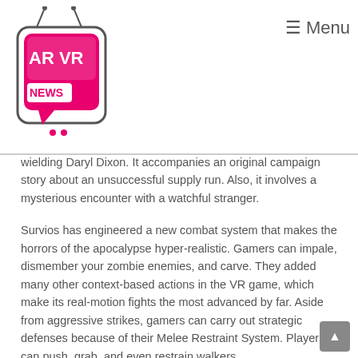AR VR NEWS — Menu
wielding Daryl Dixon. It accompanies an original campaign story about an unsuccessful supply run. Also, it involves a mysterious encounter with a watchful stranger.
Survios has engineered a new combat system that makes the horrors of the apocalypse hyper-realistic. Gamers can impale, dismember your zombie enemies, and carve. They added many other context-based actions in the VR game, which make its real-motion fights the most advanced by far. Aside from aggressive strikes, gamers can carry out strategic defenses because of their Melee Restraint System. Players can push, grab, and even restrain walkers.
In Scavenger Mode, gamers can pick between various